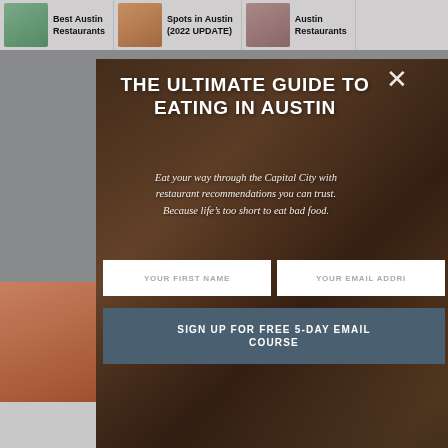[Figure (screenshot): Website screenshot showing a food blog with article carousel at top. A modal popup overlay appears in the center with a dark food photo background.]
Best Austin Restaurants | Spots in Austin (2022 UPDATE) | Austin Restaurants
THE ULTIMATE GUIDE TO EATING IN AUSTIN
Eat your way through the Capital City with restaurant recommendations you can trust. Because life’s too short to eat bad food.
YOUR FIRST NAME
YOUR EMAIL ADDRI
SIGN UP FOR FREE 5-DAY EMAIL COURSE